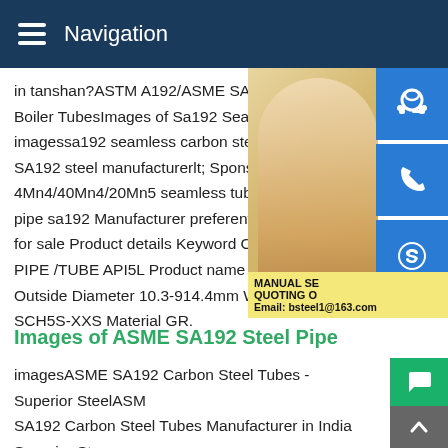Navigation
in tanshan?ASTM A192/ASME SA192 Seamless Boiler TubesImages of Sa192 Seamless C imagessa192 seamless carbon steel pipe, SA192 steel manufacturerlt; Sponsored Li 4Mn4/40Mn4/20Mn5 seamless tube/30Mn pipe sa192 Manufacturer preferential supp for sale Product details Keyword CARBON PIPE /TUBE API5L Product name Carbon Outside Diameter 10.3-914.4mm Wall Thic SCH5S-XXS Material GR.
[Figure (photo): Woman with headset customer service photo with blue icon buttons (headset, phone, Skype) on the right side, and a yellow manual quoting box with email bsteel1@163.com]
Images of ASME SA192 Steel Pipe
imagesASME SA192 Carbon Steel Tubes - Superior SteelASME SA192 Carbon Steel Tubes Manufacturer in India Superior Steel Overseas is highly acclaimed manufacturers,suppliers and exporters of high quality ASME SA / ASTM A192 Tubes.ASTM A192 Car